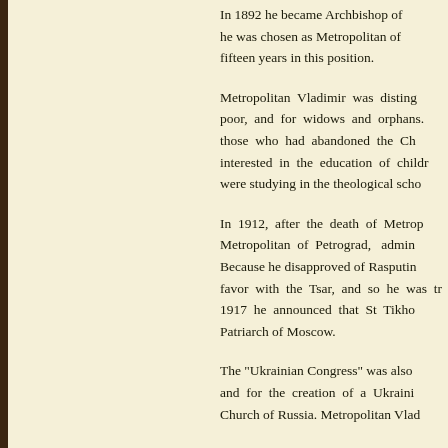In 1892 he became Archbishop of [truncated] he was chosen as Metropolitan of [truncated] fifteen years in this position.
Metropolitan Vladimir was distinguished [truncated] poor, and for widows and orphans. [truncated] those who had abandoned the Ch[urch] interested in the education of childr[en] were studying in the theological scho[ols]
In 1912, after the death of Metrop[olitan] Metropolitan of Petrograd, admin[istering] Because he disapproved of Rasputin[...] favor with the Tsar, and so he was tr[ansferred] 1917 he announced that St Tikho[n] Patriarch of Moscow.
The "Ukrainian Congress" was also [convened] and for the creation of a Ukraini[an] Church of Russia. Metropolitan Vla[dimir]